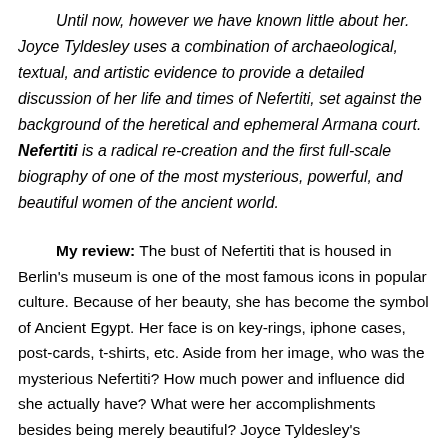Until now, however we have known little about her. Joyce Tyldesley uses a combination of archaeological, textual, and artistic evidence to provide a detailed discussion of her life and times of Nefertiti, set against the background of the heretical and ephemeral Armana court. Nefertiti is a radical re-creation and the first full-scale biography of one of the most mysterious, powerful, and beautiful women of the ancient world.
My review: The bust of Nefertiti that is housed in Berlin's museum is one of the most famous icons in popular culture. Because of her beauty, she has become the symbol of Ancient Egypt. Her face is on key-rings, iphone cases, post-cards, t-shirts, etc. Aside from her image, who was the mysterious Nefertiti? How much power and influence did she actually have? What were her accomplishments besides being merely beautiful? Joyce Tyldesley's biography seeks to answer these